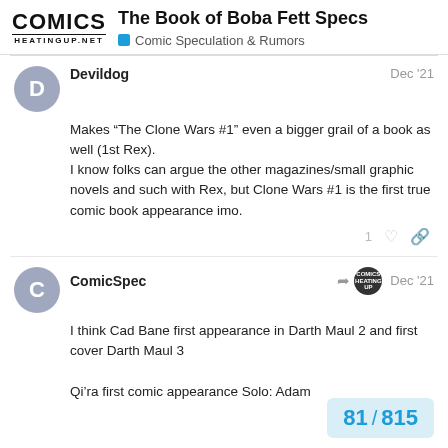The Book of Boba Fett Specs — Comic Speculation & Rumors
Devildog Dec '21
Makes “The Clone Wars #1” even a bigger grail of a book as well (1st Rex).
I know folks can argue the other magazines/small graphic novels and such with Rex, but Clone Wars #1 is the first true comic book appearance imo.
ComicSpec Dec '21
I think Cad Bane first appearance in Darth Maul 2 and first cover Darth Maul 3
Qi’ra first comic appearance Solo: Adam